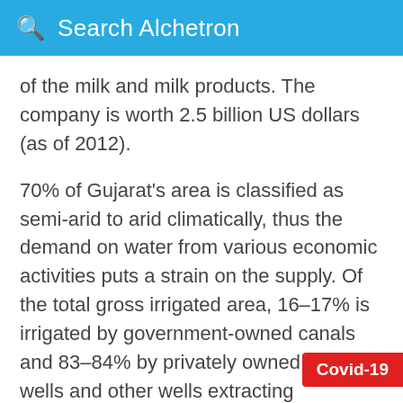Search Alchetron
of the milk and milk products. The company is worth 2.5 billion US dollars (as of 2012).
70% of Gujarat's area is classified as semi-arid to arid climatically, thus the demand on water from various economic activities puts a strain on the supply. Of the total gross irrigated area, 16–17% is irrigated by government-owned canals and 83–84% by privately owned tube wells and other wells extracting groundwater, which is the predominant source of irrigation and water supply to the agricultural areas. As a result, Gujarat has faced problems with groundwater depletion, especially after demand for water went up in the 19
Covid-19